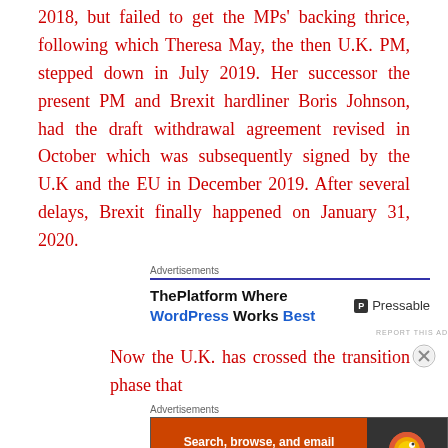2018, but failed to get the MPs' backing thrice, following which Theresa May, the then U.K. PM, stepped down in July 2019. Her successor the present PM and Brexit hardliner Boris Johnson, had the draft withdrawal agreement revised in October which was subsequently signed by the U.K and the EU in December 2019. After several delays, Brexit finally happened on January 31, 2020.
[Figure (screenshot): Advertisement block: 'ThePlatform Where WordPress Works Best' with Pressable logo]
Now the U.K. has crossed the transition phase that
[Figure (screenshot): Advertisement banner: DuckDuckGo - Search, browse, and email with more privacy. All in One Free App]